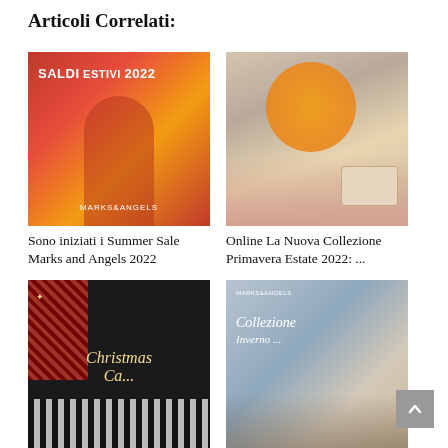Articoli Correlati:
[Figure (photo): Promotional image with text 'SALDI ESTIVI 2022' and woman in red dress with orange tote bag, MARKS&ANGELS branding]
Sono iniziati i Summer Sale Marks and Angels 2022
[Figure (photo): Woman in white blouse holding an orange, with a beige handbag on a table with oranges, by seaside]
Online La Nuova Collezione Primavera Estate 2022: ...
[Figure (photo): Christmas themed image with text 'Christmas Ca...' in gold script, red leopard print and zebra print fabric items on dark background]
[Figure (photo): Woman in denim jacket and sunglasses, with MARKS&ANGELS overlay text 'COLLEZIONE Inverno ...']